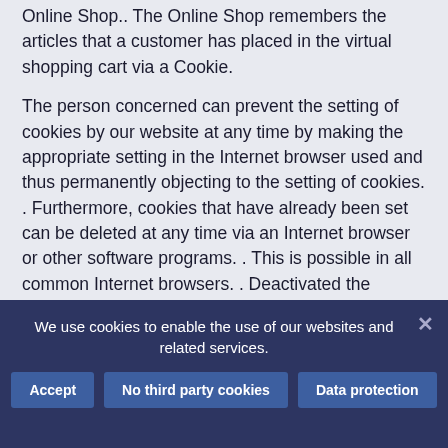Online Shop.. The Online Shop remembers the articles that a customer has placed in the virtual shopping cart via a Cookie.
The person concerned can prevent the setting of cookies by our website at any time by making the appropriate setting in the Internet browser used and thus permanently objecting to the setting of cookies. . Furthermore, cookies that have already been set can be deleted at any time via an Internet browser or other software programs. . This is possible in all common Internet browsers. . Deactivated the person concerned setting cookies in the internet browser used, under certain circumstances not all functions of our website
We use cookies to enable the use of our websites and related services.